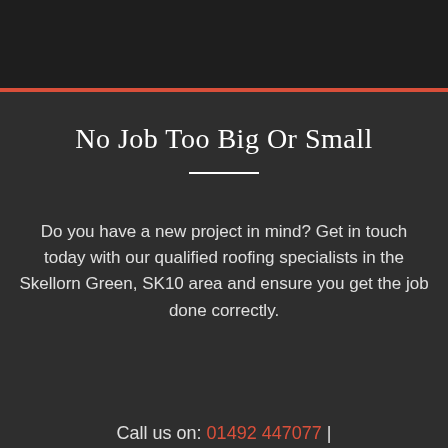No Job Too Big Or Small
Do you have a new project in mind? Get in touch today with our qualified roofing specialists in the Skellorn Green, SK10 area and ensure you get the job done correctly.
Call us on: 01492 447077  |